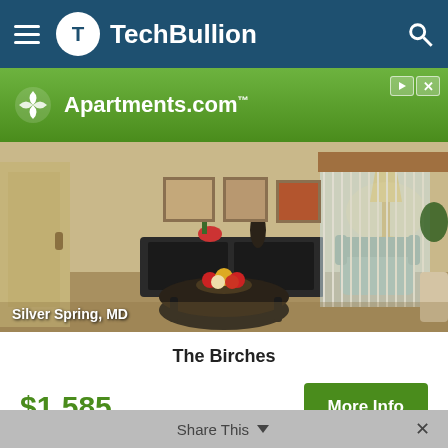TechBullion
[Figure (screenshot): Apartments.com advertisement banner with green gradient background and logo]
[Figure (photo): Interior photo of apartment living room in Silver Spring, MD showing armchair, coffee table with fruit bowl, sliding glass door with vertical blinds, and wall art]
The Birches
$1,585
More Info
Share This